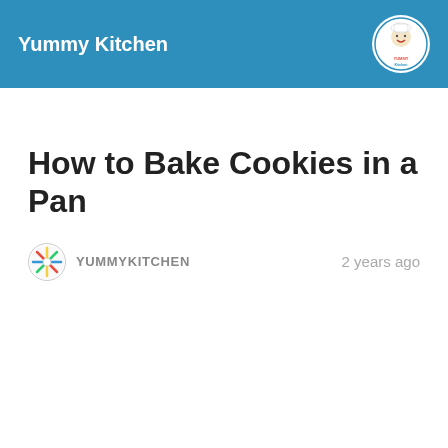Yummy Kitchen
How to Bake Cookies in a Pan
YUMMYKITCHEN   2 years ago